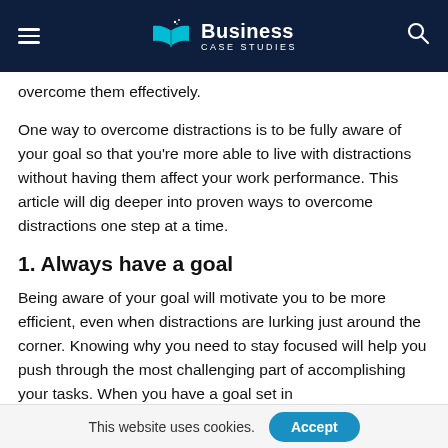Business Case Studies
overcome them effectively.
One way to overcome distractions is to be fully aware of your goal so that you're more able to live with distractions without having them affect your work performance. This article will dig deeper into proven ways to overcome distractions one step at a time.
1. Always have a goal
Being aware of your goal will motivate you to be more efficient, even when distractions are lurking just around the corner. Knowing why you need to stay focused will help you push through the most challenging part of accomplishing your tasks. When you have a goal set in
This website uses cookies.